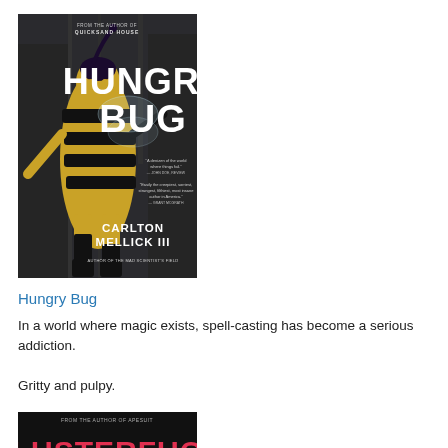[Figure (illustration): Book cover of 'Hungry Bug' by Carlton Mellick III. Features a woman in a black and yellow striped bodysuit (bee-like). Large white bold text reads 'HUNGRY BUG'. Author name 'CARLTON MELLICK III' at the bottom. Two blurb quotes visible. Top text reads 'FROM THE AUTHOR OF QUICKSAND HOUSE'.]
Hungry Bug
In a world where magic exists, spell-casting has become a serious addiction.
Gritty and pulpy.
[Figure (illustration): Partial view of book cover for 'CLUSTERFUCK' - text in red/pink on dark background, partially visible.]